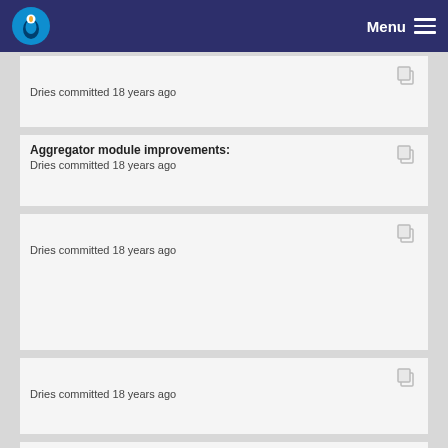Menu
Dries committed 18 years ago
Aggregator module improvements:
Dries committed 18 years ago
Dries committed 18 years ago
Dries committed 18 years ago
Dries committed 18 years ago
Aggregator module improvements: